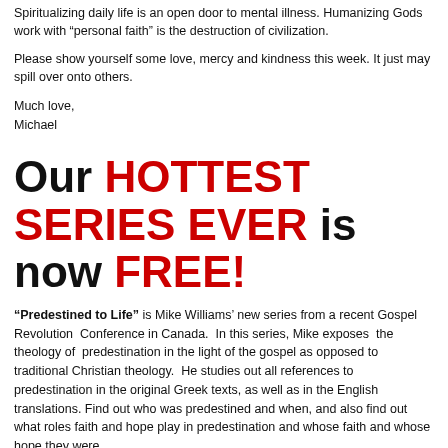Spiritualizing daily life is an open door to mental illness. Humanizing Gods work with “personal faith” is the destruction of civilization.
Please show yourself some love, mercy and kindness this week. It just may spill over onto others.
Much love,
Michael
Our HOTTEST SERIES EVER is now FREE!
“Predestined to Life” is Mike Williams’ new series from a recent Gospel Revolution Conference in Canada. In this series, Mike exposes the theology of predestination in the light of the gospel as opposed to traditional Christian theology. He studies out all references to predestination in the original Greek texts, as well as in the English translations. Find out who was predestined and when, and also find out what roles faith and hope play in predestination and whose faith and whose hope they were.